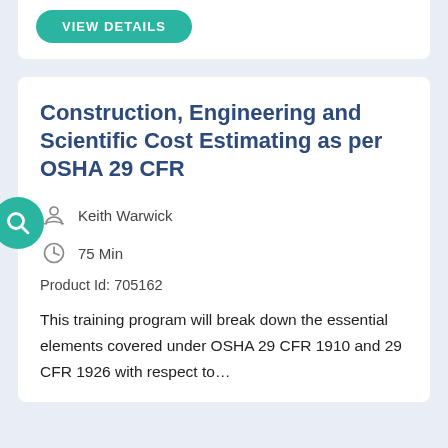[Figure (other): Teal rounded button labeled VIEW DETAILS at top of page inside a white card]
Construction, Engineering and Scientific Cost Estimating as per OSHA 29 CFR
Keith Warwick
75 Min
Product Id: 705162
This training program will break down the essential elements covered under OSHA 29 CFR 1910 and 29 CFR 1926 with respect to...